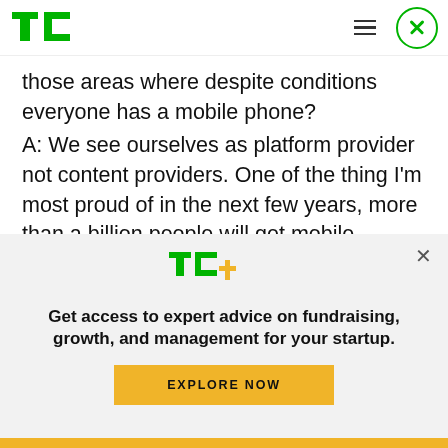TechCrunch logo, hamburger menu, close button
those areas where despite conditions everyone has a mobile phone?
A: We see ourselves as platform provider not content providers. One of the thing I'm most proud of in the next few years, more than a billion people will get mobile phones who have never had a mechanism of communication outside of their
[Figure (logo): TechCrunch TC+ logo in green and yellow]
Get access to expert advice on fundraising, growth, and management for your startup.
EXPLORE NOW